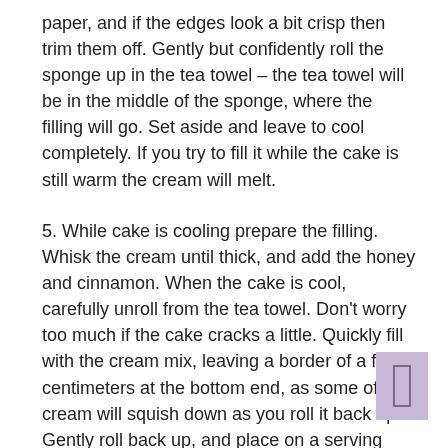paper, and if the edges look a bit crisp then trim them off. Gently but confidently roll the sponge up in the tea towel – the tea towel will be in the middle of the sponge, where the filling will go. Set aside and leave to cool completely. If you try to fill it while the cake is still warm the cream will melt.
5. While cake is cooling prepare the filling. Whisk the cream until thick, and add the honey and cinnamon. When the cake is cool, carefully unroll from the tea towel. Don't worry too much if the cake cracks a little. Quickly fill with the cream mix, leaving a border of a few centimeters at the bottom end, as some of the cream will squish down as you roll it back up. Gently roll back up, and place on a serving plate. If you like you can dust it with more sugar and cinnamon, pipe with cream etc.